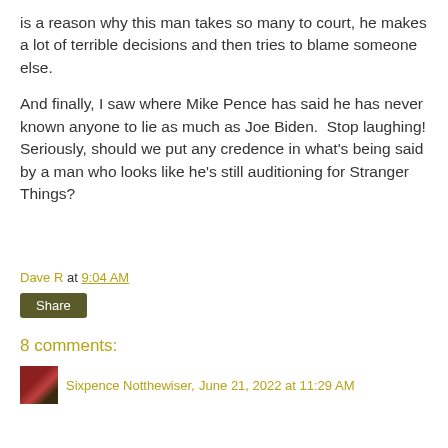is a reason why this man takes so many to court, he makes a lot of terrible decisions and then tries to blame someone else.

And finally, I saw where Mike Pence has said he has never known anyone to lie as much as Joe Biden.  Stop laughing! Seriously, should we put any credence in what's being said by a man who looks like he's still auditioning for Stranger Things?
Dave R at 9:04 AM
Share
8 comments:
Sixpence Notthewiser, June 21, 2022 at 11:29 AM